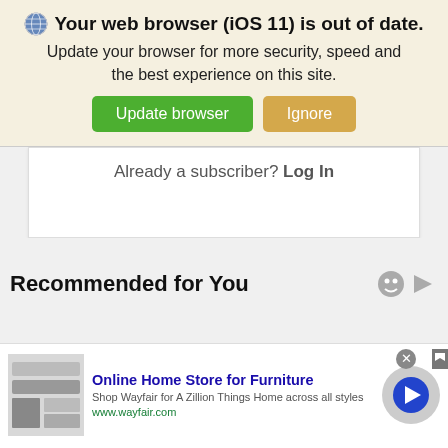Your web browser (iOS 11) is out of date. Update your browser for more security, speed and the best experience on this site.
[Figure (screenshot): Update browser and Ignore buttons]
Already a subscriber? Log In
Recommended for You
[Figure (screenshot): Advertisement: Online Home Store for Furniture - Shop Wayfair for A Zillion Things Home across all styles. www.wayfair.com]